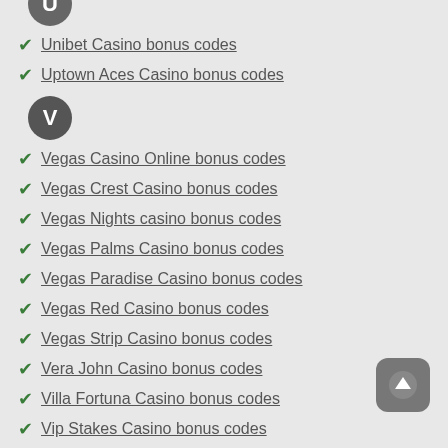[Figure (other): Circular badge with letter U (partially visible at top)]
Unibet Casino bonus codes
Uptown Aces Casino bonus codes
[Figure (other): Circular badge with letter V]
Vegas Casino Online bonus codes
Vegas Crest Casino bonus codes
Vegas Nights casino bonus codes
Vegas Palms Casino bonus codes
Vegas Paradise Casino bonus codes
Vegas Red Casino bonus codes
Vegas Strip Casino bonus codes
Vera John Casino bonus codes
Villa Fortuna Casino bonus codes
Vip Stakes Casino bonus codes
Virtual Casino bonus codes
[Figure (other): Circular badge with letter W]
Wild Jack Casino bonus codes